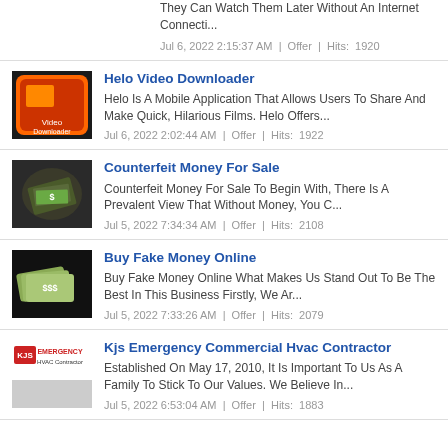They Can Watch Them Later Without An Internet Connecti...
Jul 6, 2022 2:15:37 AM  |  Offer  |  Hits:  1920
Helo Video Downloader
Helo Is A Mobile Application That Allows Users To Share And Make Quick, Hilarious Films. Helo Offers...
Jul 6, 2022 2:02:44 AM  |  Offer  |  Hits:  1922
Counterfeit Money For Sale
Counterfeit Money For Sale To Begin With, There Is A Prevalent View That Without Money, You C...
Jul 5, 2022 7:34:34 AM  |  Offer  |  Hits:  2108
Buy Fake Money Online
Buy Fake Money Online What Makes Us Stand Out To Be The Best In This Business Firstly, We Ar...
Jul 5, 2022 7:33:26 AM  |  Offer  |  Hits:  2079
Kjs Emergency Commercial Hvac Contractor
Established On May 17, 2010, It Is Important To Us As A Family To Stick To Our Values. We Believe In...
Jul 5, 2022 6:53:04 AM  |  Offer  |  Hits:  1883